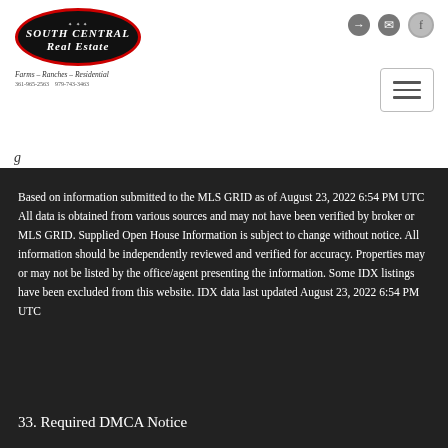[Figure (logo): South Central Real Estate logo — black oval with red border, text 'SOUTH CENTRAL Real Estate', tagline 'Farms - Ranches - Residential', phone numbers 361-965-2563 and 979-743-3463]
Based on information submitted to the MLS GRID as of August 23, 2022 6:54 PM UTC All data is obtained from various sources and may not have been verified by broker or MLS GRID. Supplied Open House Information is subject to change without notice. All information should be independently reviewed and verified for accuracy. Properties may or may not be listed by the office/agent presenting the information. Some IDX listings have been excluded from this website. IDX data last updated August 23, 2022 6:54 PM UTC
33. Required DMCA Notice
imer
The Digital Millennium Copyright Act of 1998, 17 U.S.C. §512, the